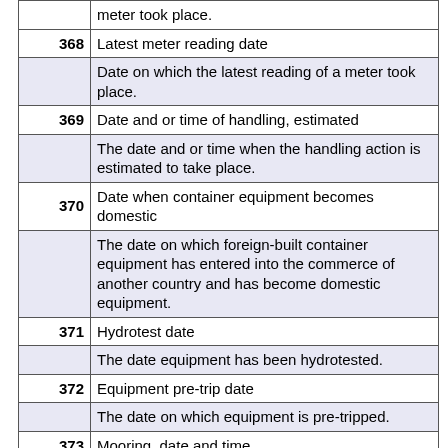| Code | Description |
| --- | --- |
|  | meter took place. |
| 368 | Latest meter reading date |
|  | Date on which the latest reading of a meter took place. |
| 369 | Date and or time of handling, estimated |
|  | The date and or time when the handling action is estimated to take place. |
| 370 | Date when container equipment becomes domestic |
|  | The date on which foreign-built container equipment has entered into the commerce of another country and has become domestic equipment. |
| 371 | Hydrotest date |
|  | The date equipment has been hydrotested. |
| 372 | Equipment pre-trip date |
|  | The date on which equipment is pre-tripped. |
| 373 | Mooring, date and time |
|  | Date and time of mooring. |
| 374 | Road fund tax expiry date |
|  | The date of expiry of the road fund tax. |
| 375 | Date of first registration... |